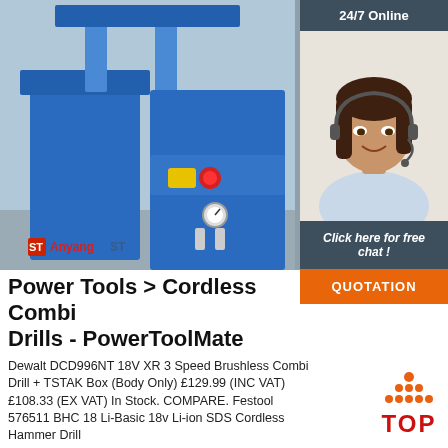[Figure (photo): Blue industrial hydraulic press machine (Anyang ST brand) in a workshop, with yellow and red control buttons and pressure gauges visible]
[Figure (photo): Customer service agent (woman with headset) with '24/7 Online' banner above and 'Click here for free chat!' and 'QUOTATION' button below]
Power Tools > Cordless Combi Drills - PowerToolMate
Dewalt DCD996NT 18V XR 3 Speed Brushless Combi Drill + TSTAK Box (Body Only) £129.99 (INC VAT) £108.33 (EX VAT) In Stock. COMPARE. Festool 576511 BHC 18 Li-Basic 18v Li-ion SDS Cordless Hammer Drill
[Figure (logo): TOP logo with orange dots forming a triangle above red text 'TOP']